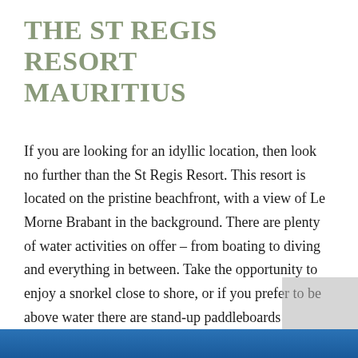THE ST REGIS RESORT MAURITIUS
If you are looking for an idyllic location, then look no further than the St Regis Resort. This resort is located on the pristine beachfront, with a view of Le Morne Brabant in the background. There are plenty of water activities on offer – from boating to diving and everything in between. Take the opportunity to enjoy a snorkel close to shore, or if you prefer to be above water there are stand-up paddleboards available during your stay. This is a great resort if you prefer a more active escape near the sea.